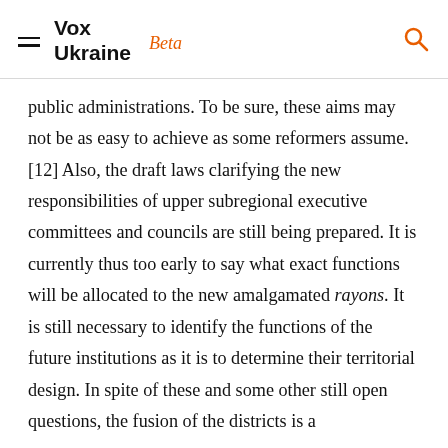Vox Ukraine Beta
public administrations. To be sure, these aims may not be as easy to achieve as some reformers assume.[12] Also, the draft laws clarifying the new responsibilities of upper subregional executive committees and councils are still being prepared. It is currently thus too early to say what exact functions will be allocated to the new amalgamated rayons. It is still necessary to identify the functions of the future institutions as it is to determine their territorial design. In spite of these and some other still open questions, the fusion of the districts is a